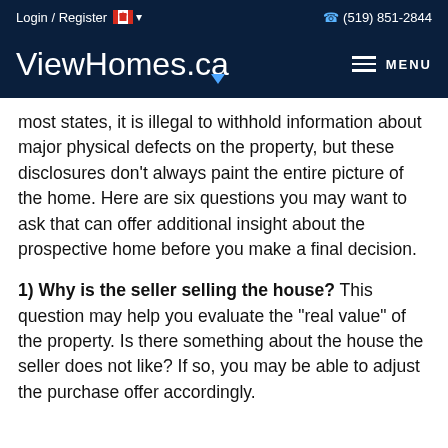Login / Register  🇨🇦 ▾   (519) 851-2844
ViewHomes.ca
most states, it is illegal to withhold information about major physical defects on the property, but these disclosures don't always paint the entire picture of the home. Here are six questions you may want to ask that can offer additional insight about the prospective home before you make a final decision.
1) Why is the seller selling the house? This question may help you evaluate the "real value" of the property. Is there something about the house the seller does not like? If so, you may be able to adjust the purchase offer accordingly.